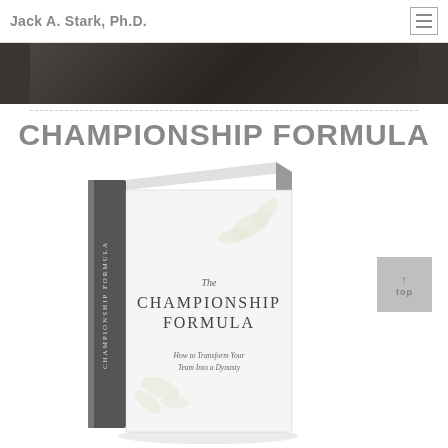Jack A. Stark, Ph.D.
[Figure (photo): Dark background photo strip showing a person in dark clothing]
CHAMPIONSHIP FORMULA
[Figure (photo): Book cover of 'The Championship Formula: How to Transform Your Team Into a Dynasty' by Jack A. Stark Ph.D., showing a white book with subtle leaf/botanical design and text on cover and spine]